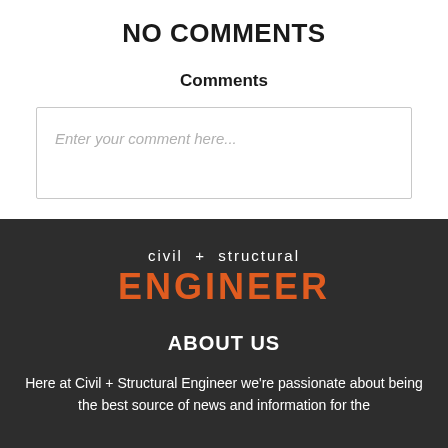NO COMMENTS
Comments
Enter your comment here...
[Figure (logo): Civil + Structural Engineer logo: 'civil + structural' in white above 'ENGINEER' in large orange bold text]
ABOUT US
Here at Civil + Structural Engineer we're passionate about being the best source of news and information for the